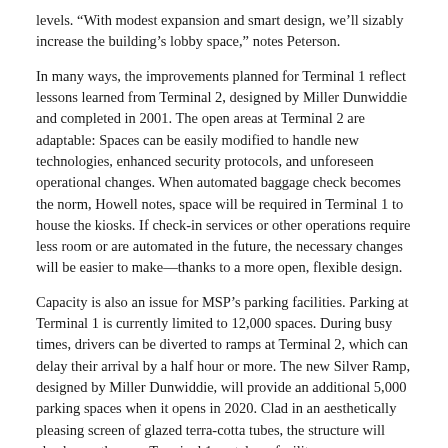levels. “With modest expansion and smart design, we’ll sizably increase the building’s lobby space,” notes Peterson.
In many ways, the improvements planned for Terminal 1 reflect lessons learned from Terminal 2, designed by Miller Dunwiddie and completed in 2001. The open areas at Terminal 2 are adaptable: Spaces can be easily modified to handle new technologies, enhanced security protocols, and unforeseen operational changes. When automated baggage check becomes the norm, Howell notes, space will be required in Terminal 1 to house the kiosks. If check-in services or other operations require less room or are automated in the future, the necessary changes will be easier to make—thanks to a more open, flexible design.
Capacity is also an issue for MSP’s parking facilities. Parking at Terminal 1 is currently limited to 12,000 spaces. During busy times, drivers can be diverted to ramps at Terminal 2, which can delay their arrival by a half hour or more. The new Silver Ramp, designed by Miller Dunwiddie, will provide an additional 5,000 parking spaces when it opens in 2020. Clad in an aesthetically pleasing screen of glazed terra-cotta tubes, the structure will also house the new Terminal 1 rental-car facility.
FLOW